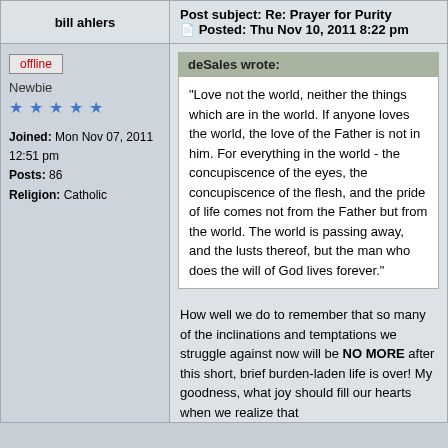| bill ahlers | Post subject: Re: Prayer for Purity
Posted: Thu Nov 10, 2011 8:22 pm |
| --- | --- |
| offline
Newbie
★★★★★
Joined: Mon Nov 07, 2011 12:51 pm
Posts: 86
Religion: Catholic | deSales wrote:
"Love not the world, neither the things which are in the world. If anyone loves the world, the love of the Father is not in him. For everything in the world - the concupiscence of the eyes, the concupiscence of the flesh, and the pride of life comes not from the Father but from the world. The world is passing away, and the lusts thereof, but the man who does the will of God lives forever."

How well we do to remember that so many of the inclinations and temptations we struggle against now will be NO MORE after this short, brief burden-laden life is over! My goodness, what joy should fill our hearts when we realize that |